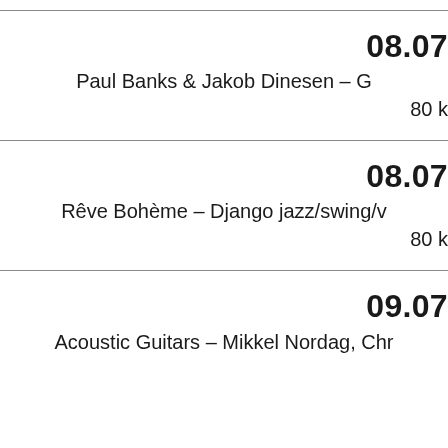08.07
Paul Banks & Jakob Dinesen – G
80 k
08.07
Rêve Bohème – Django jazz/swing/v
80 k
09.07
Acoustic Guitars – Mikkel Nordag, Chr